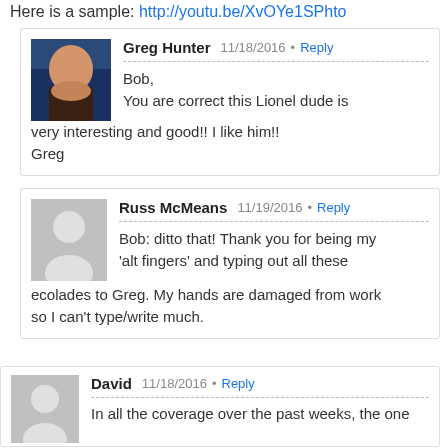Here is a sample: http://youtu.be/XvOYe1SPhto
Greg Hunter 11/18/2016 Reply
Bob,
You are correct this Lionel dude is very interesting and good!! I like him!!
Greg
Russ McMeans 11/19/2016 Reply
Bob: ditto that! Thank you for being my 'alt fingers' and typing out all these ecolades to Greg. My hands are damaged from work so I can't type/write much.
David 11/18/2016 Reply
In all the coverage over the past weeks, the one